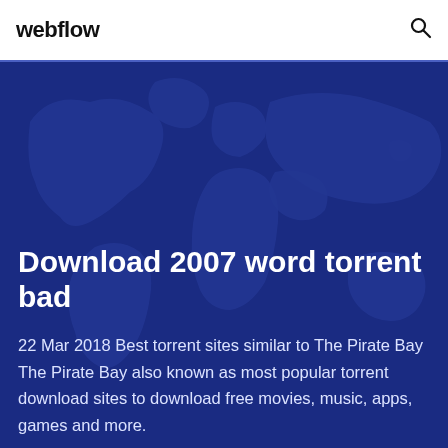webflow
[Figure (illustration): World map illustration in blue tones used as hero background]
Download 2007 word torrent bad
22 Mar 2018 Best torrent sites similar to The Pirate Bay The Pirate Bay also known as most popular torrent download sites to download free movies, music, apps, games and more.